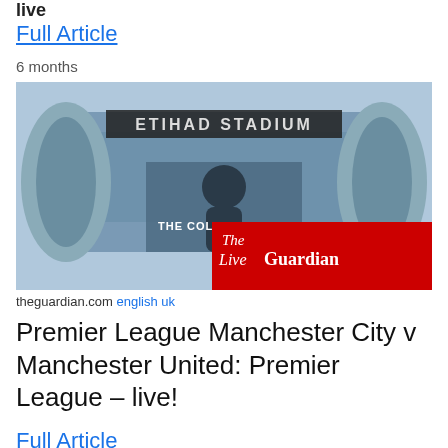live
Full Article
6 months
[Figure (photo): Photo of Etihad Stadium exterior with a large mural of Colin Bell on the facade. A red Guardian overlay with 'The Live Guardian' text appears in the bottom right corner of the image.]
theguardian.com english uk
Premier League Manchester City v Manchester United: Premier League – live!
Full Article